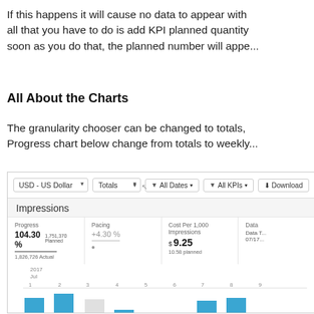If this happens it will cause no data to appear with all that you have to do is add KPI planned quantity soon as you do that, the planned number will appe...
All About the Charts
The granularity chooser can be changed to totals, Progress chart below change from totals to weekly...
[Figure (screenshot): Screenshot of a dashboard interface showing an Impressions KPI chart. Toolbar with USD - US Dollar dropdown, Totals dropdown, All Dates filter, All KPIs filter, and Download button. Below shows metrics: Progress 104.30% (1,751,370 Planned, 1,826,726 Actual), Pacing +4.30%, Cost Per 1,000 Impressions $9.25 (10.58 planned), Data section dated 07/17. Chart area shows 2017 Jul axis with numbers 1-9 and bar chart columns in blue.]